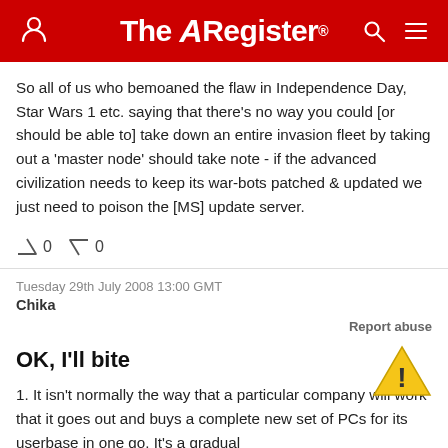The Register
So all of us who bemoaned the flaw in Independence Day, Star Wars 1 etc. saying that there’s no way you could [or should be able to] take down an entire invasion fleet by taking out a ‘master node’ should take note - if the advanced civilization needs to keep its war-bots patched & updated we just need to poison the [MS] update server.
0  0
Tuesday 29th July 2008 13:00 GMT
Chika
Report abuse
OK, I’ll bite
1. It isn’t normally the way that a particular company will work that it goes out and buys a complete new set of PCs for its userbase in one go. It’s a gradual